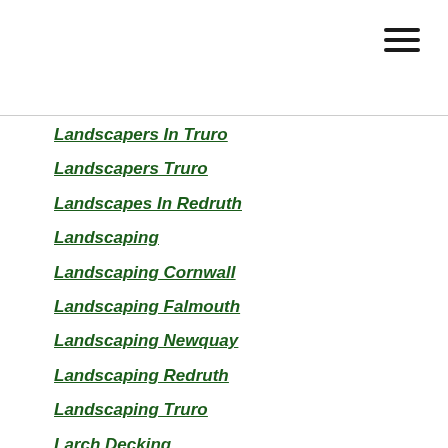Landscapers In Truro
Landscapers Truro
Landscapes In Redruth
Landscaping
Landscaping Cornwall
Landscaping Falmouth
Landscaping Newquay
Landscaping Redruth
Landscaping Truro
Larch Decking
Larch Woodwork
Lavender
Lavender Harvest
Lawn Care
Lawn Management
Lawns